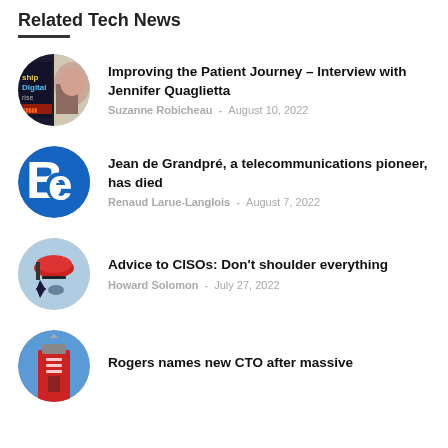Related Tech News
Improving the Patient Journey – Interview with Jennifer Quaglietta | Suzanne Robicheau - August 10, 2022
Jean de Grandpré, a telecommunications pioneer, has died | Renaud Larue-Langlois - August 7, 2022
Advice to CISOs: Don't shoulder everything | Howard Solomon - July 27, 2022
Rogers names new CTO after massive